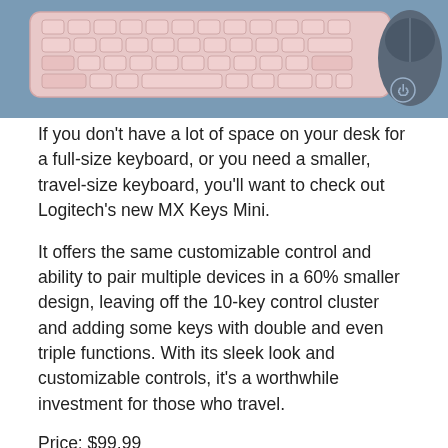[Figure (photo): Photo of a pink/rose gold compact keyboard and a dark blue wireless mouse on a blue textured surface]
If you don't have a lot of space on your desk for a full-size keyboard, or you need a smaller, travel-size keyboard, you'll want to check out Logitech's new MX Keys Mini.
It offers the same customizable control and ability to pair multiple devices in a 60% smaller design, leaving off the 10-key control cluster and adding some keys with double and even triple functions. With its sleek look and customizable controls, it's a worthwhile investment for those who travel.
Price: $99.99
BUY IT ON LOGITECH
BUY IT ON AMAZON